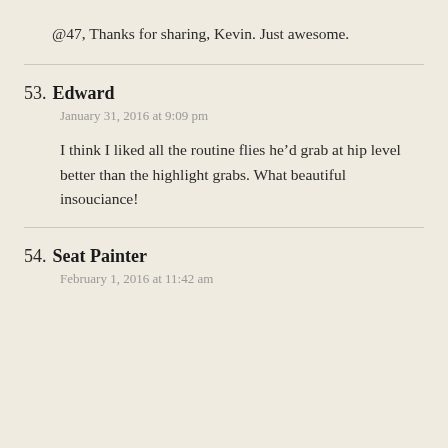@47, Thanks for sharing, Kevin. Just awesome.
53. Edward
January 31, 2016 at 9:09 pm
I think I liked all the routine flies he’d grab at hip level better than the highlight grabs. What beautiful insouciance!
54. Seat Painter
February 1, 2016 at 11:42 am